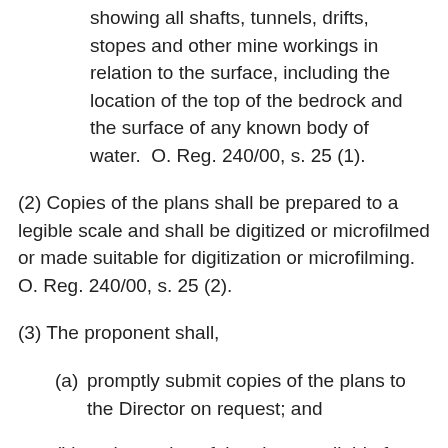showing all shafts, tunnels, drifts, stopes and other mine workings in relation to the surface, including the location of the top of the bedrock and the surface of any known body of water.  O. Reg. 240/00, s. 25 (1).
(2) Copies of the plans shall be prepared to a legible scale and shall be digitized or microfilmed or made suitable for digitization or microfilming. O. Reg. 240/00, s. 25 (2).
(3) The proponent shall,
(a) promptly submit copies of the plans to the Director on request; and
(b) make copies of the plans available for inspection at the project site or another